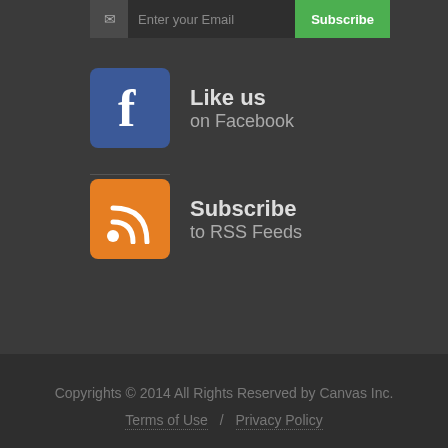[Figure (screenshot): Email subscription bar with email input field and green Subscribe button]
Like us
on Facebook
Subscribe
to RSS Feeds
Copyrights © 2014 All Rights Reserved by Canvas Inc.
Terms of Use / Privacy Policy